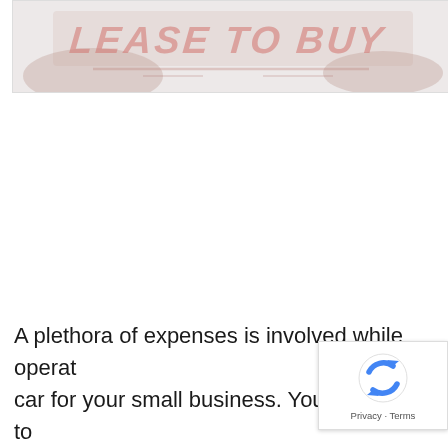[Figure (photo): A banner/hero image with bold italic text reading 'LEASE TO BUY' in a stylized, distressed font over a light reddish-brown background, resembling a stamp or graphic overlay.]
A plethora of expenses is involved while operating a car for your small business. You would have to